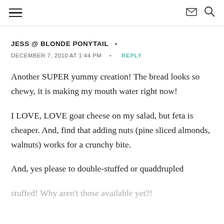≡  ✉ 🔍
JESS @ BLONDE PONYTAIL  •
DECEMBER 7, 2010 AT 1:44 PM  •  REPLY
Another SUPER yummy creation! The bread looks so chewy, it is making my mouth water right now!

I LOVE, LOVE goat cheese on my salad, but feta is cheaper. And, find that adding nuts (pine sliced almonds, walnuts) works for a crunchy bite.

And, yes please to double-stuffed or quaddrupled stuffed! Why aren't those available yet?!